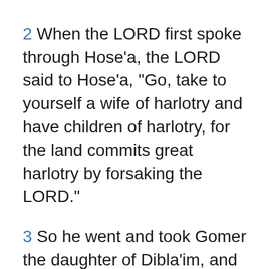2 When the LORD first spoke through Hose'a, the LORD said to Hose'a, "Go, take to yourself a wife of harlotry and have children of harlotry, for the land commits great harlotry by forsaking the LORD."
3 So he went and took Gomer the daughter of Dibla'im, and she conceived and bore him a son.
4 And the LORD said to him, "Call his name Jezreel; for yet a little while, and I will punish the house of Jehu for the blood of Jezreel, and I will put an end to